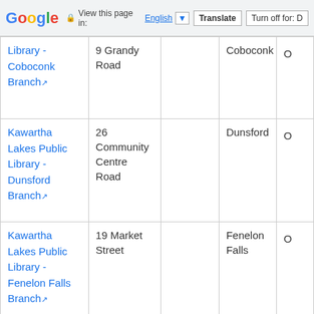Google — View this page in: English [▼] Translate | Turn off for: D
| Name | Address |  | City | Province |
| --- | --- | --- | --- | --- |
| Library - Coboconk Branch ↗ | 9 Grandy Road |  | Coboconk | ON |
| Kawartha Lakes Public Library - Dunsford Branch ↗ | 26 Community Centre Road |  | Dunsford | ON |
| Kawartha Lakes Public Library - Fenelon Falls Branch ↗ | 19 Market Street |  | Fenelon Falls | ON |
| Kawartha |  |  |  |  |